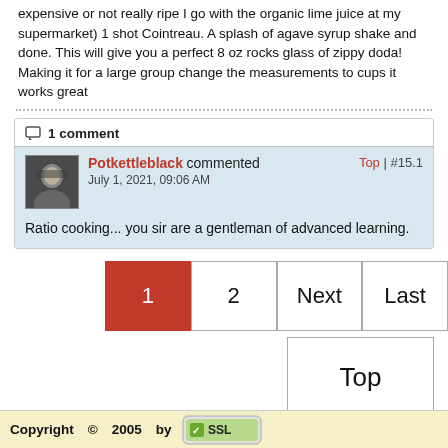expensive or not really ripe I go with the organic lime juice at my supermarket) 1 shot Cointreau. A splash of agave syrup shake and done. This will give you a perfect 8 oz rocks glass of zippy doda! Making it for a large group change the measurements to cups it works great
1 comment
Potkettleblack commented July 1, 2021, 09:06 AM | Top | #15.1
Ratio cooking... you sir are a gentleman of advanced learning.
1 2 Next Last
Top
Copyright © 2005 by SSL